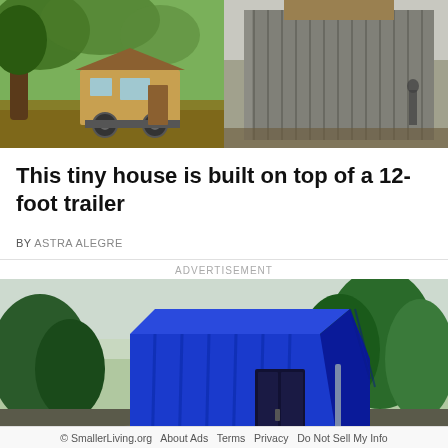[Figure (photo): Two side-by-side photos of tiny houses: left shows a wooden tiny house on a trailer in a green wooded setting; right shows a metallic corrugated-steel tiny house exterior.]
This tiny house is built on top of a 12-foot trailer
BY ASTRA ALEGRE
ADVERTISEMENT
[Figure (photo): A bright blue shipping container converted into a small home, situated on a paved path surrounded by lush green trees and shrubs.]
© SmallerLiving.org  About Ads  Terms  Privacy  Do Not Sell My Info